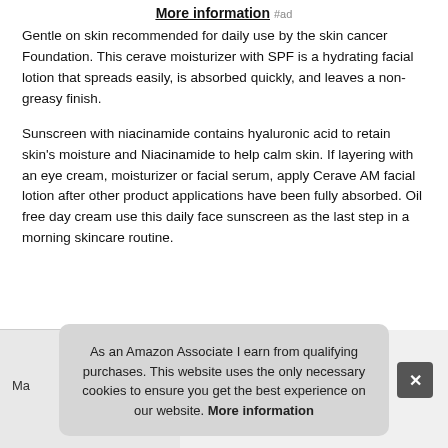More information #ad
Gentle on skin recommended for daily use by the skin cancer Foundation. This cerave moisturizer with SPF is a hydrating facial lotion that spreads easily, is absorbed quickly, and leaves a non-greasy finish.
Sunscreen with niacinamide contains hyaluronic acid to retain skin's moisture and Niacinamide to help calm skin. If layering with an eye cream, moisturizer or facial serum, apply Cerave AM facial lotion after other product applications have been fully absorbed. Oil free day cream use this daily face sunscreen as the last step in a morning skincare routine.
Ma
As an Amazon Associate I earn from qualifying purchases. This website uses the only necessary cookies to ensure you get the best experience on our website. More information